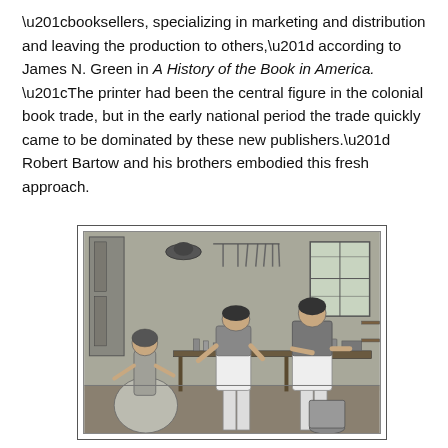“booksellers, specializing in marketing and distribution and leaving the production to others,” according to James N. Green in A History of the Book in America. “The printer had been the central figure in the colonial book trade, but in the early national period the trade quickly came to be dominated by these new publishers.” Robert Bartow and his brothers embodied this fresh approach.
[Figure (illustration): A black-and-white engraving depicting a 19th-century workshop scene with three figures: a seated woman working at a table on the left, a man in an apron leaning over in the center, and another man in an apron working at a counter on the right, with shelves and a window in the background.]